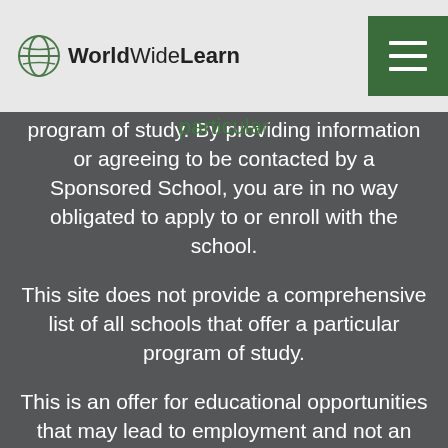WorldWideLearn
comprehensive list of all schools (a) in the United States (b) located in a specific geographic area or (c) that offer a particular program of study. By providing information or agreeing to be contacted by a Sponsored School, you are in no way obligated to apply to or enroll with the school.
This site does not provide a comprehensive list of all schools that offer a particular program of study.
This is an offer for educational opportunities that may lead to employment and not an offer for nor a guarantee of employment. Students should consult with a representative from the school they select to learn more about career opportunities in that field. Program outcomes vary according to each institution’s specific program curriculum. Financial aid may be